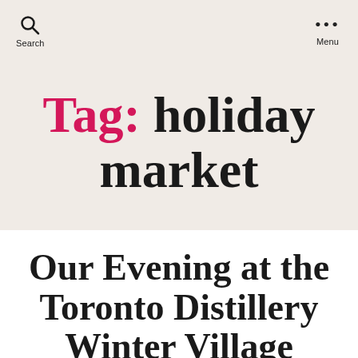Search   Menu
Tag: holiday market
Our Evening at the Toronto Distillery Winter Village